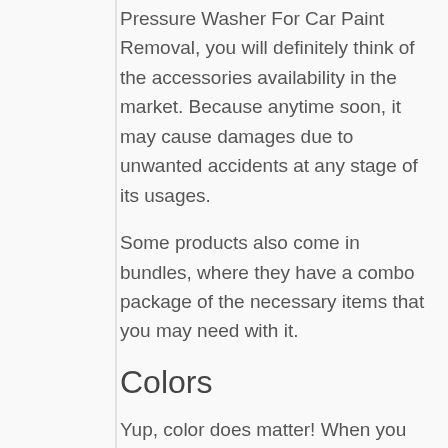Pressure Washer For Car Paint Removal, you will definitely think of the accessories availability in the market. Because anytime soon, it may cause damages due to unwanted accidents at any stage of its usages.
Some products also come in bundles, where they have a combo package of the necessary items that you may need with it.
Colors
Yup, color does matter! When you are planning to buy a Pressure